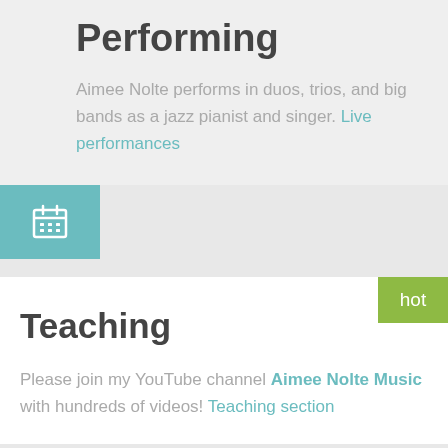Performing
Aimee Nolte performs in duos, trios, and big bands as a jazz pianist and singer. Live performances
[Figure (other): Teal/cyan square with a calendar icon (grid icon) in white]
Teaching
Please join my YouTube channel Aimee Nolte Music with hundreds of videos! Teaching section
Recordings